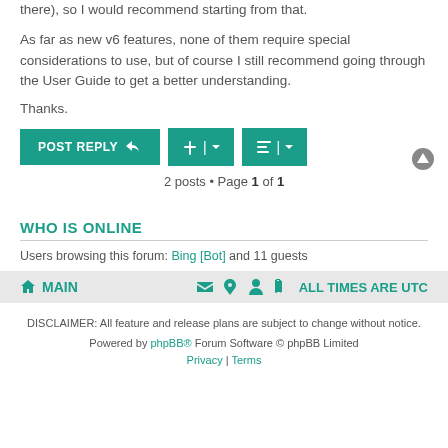As far as new v6 features, none of them require special considerations to use, but of course I still recommend going through the User Guide to get a better understanding.
Thanks.
2 posts • Page 1 of 1
WHO IS ONLINE
Users browsing this forum: Bing [Bot] and 11 guests
MAIN | ALL TIMES ARE UTC
DISCLAIMER: All feature and release plans are subject to change without notice.
Powered by phpBB® Forum Software © phpBB Limited
Privacy | Terms